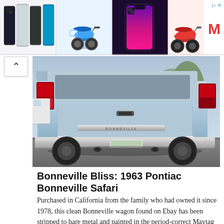[Figure (screenshot): Advertisement banner with four cells: iPhone 12 lineup, blue electric scooter, iPhone 13 lineup, red scooter, and a logo (M brand). Small ad close icon top right.]
[Figure (photo): Rear view of a light blue 1963 Pontiac Bonneville Safari station wagon parked outdoors, showing chrome bumper, tail lights, and Bonneville badging. Trees visible in background.]
Bonneville Bliss: 1963 Pontiac Bonneville Safari
Purchased in California from the family who had owned it since 1978, this clean Bonneville wagon found on Ebay has been stripped to bare metal and painted in the period-correct Maytag Blue. Th…